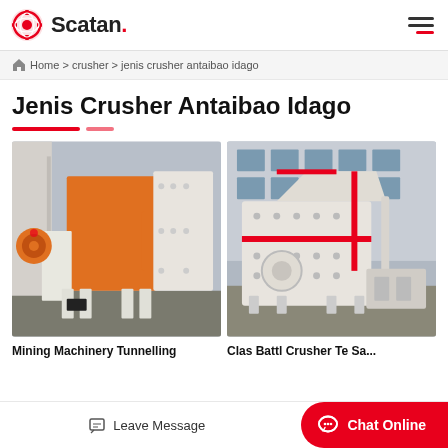Scatan.
Home > crusher > jenis crusher antaibao idago
Jenis Crusher Antaibao Idago
[Figure (photo): Mining machinery / crusher equipment - large orange and white industrial crusher machine outdoors]
[Figure (photo): Industrial crusher machine - white and red heavy-duty crusher unit outdoors near building]
Mining Machinery Tunnelling
Leave Message
Chat Online